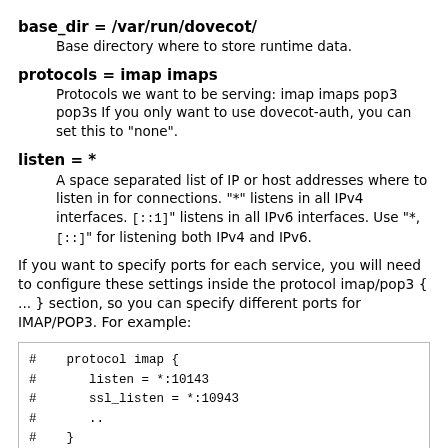base_dir = /var/run/dovecot/
Base directory where to store runtime data.
protocols = imap imaps
Protocols we want to be serving: imap imaps pop3 pop3s If you only want to use dovecot-auth, you can set this to "none".
listen = *
A space separated list of IP or host addresses where to listen in for connections. "*" listens in all IPv4 interfaces. [::] listens in all IPv6 interfaces. Use "*,[::]" for listening both IPv4 and IPv6.
If you want to specify ports for each service, you will need to configure these settings inside the protocol imap/pop3 { ... } section, so you can specify different ports for IMAP/POP3. For example:
[Figure (screenshot): Code block showing commented-out protocol imap configuration with listen = *:10143, ssl_listen = *:10943, .., }, and protocol pop3 {]